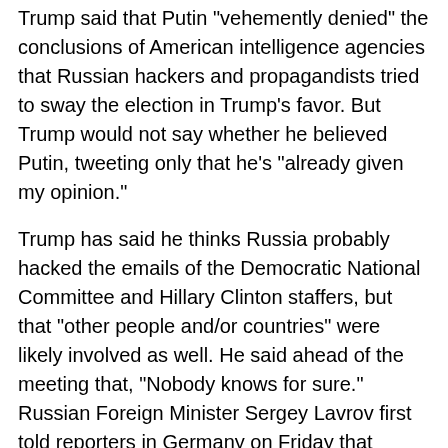Trump said that Putin "vehemently denied" the conclusions of American intelligence agencies that Russian hackers and propagandists tried to sway the election in Trump's favor. But Trump would not say whether he believed Putin, tweeting only that he's "already given my opinion."
Trump has said he thinks Russia probably hacked the emails of the Democratic National Committee and Hillary Clinton staffers, but that "other people and/or countries" were likely involved as well. He said ahead of the meeting that, "Nobody knows for sure." Russian Foreign Minister Sergey Lavrov first told reporters in Germany on Friday that Trump had accepted Putin's assurances that Russia hadn't meddled - an assertion Putin repeated Saturday after the Group of 20 summit. Putin said he left the meeting